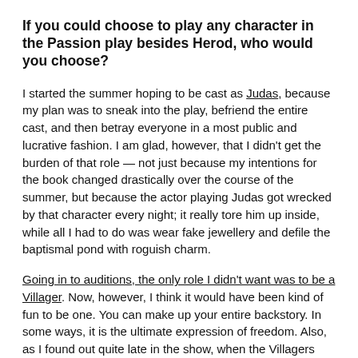If you could choose to play any character in the Passion play besides Herod, who would you choose?
I started the summer hoping to be cast as Judas, because my plan was to sneak into the play, befriend the entire cast, and then betray everyone in a most public and lucrative fashion. I am glad, however, that I didn't get the burden of that role — not just because my intentions for the book changed drastically over the course of the summer, but because the actor playing Judas got wrecked by that character every night; it really tore him up inside, while all I had to do was wear fake jewellery and defile the baptismal pond with roguish charm.
Going in to auditions, the only role I didn't want was to be a Villager. Now, however, I think it would have been kind of fun to be one. You can make up your entire backstory. In some ways, it is the ultimate expression of freedom. Also, as I found out quite late in the show, when the Villagers assemble into a